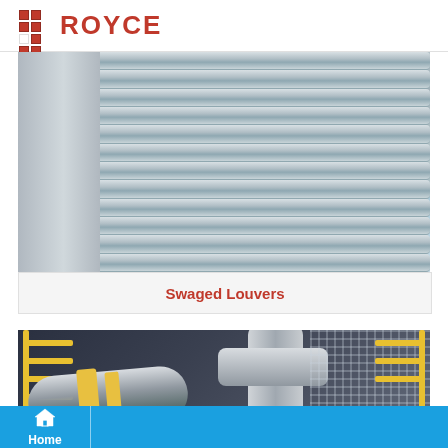ROYCE
[Figure (photo): Close-up photograph of swaged louvers — corrugated metal louvered panels viewed from below at an angle, with a structural beam visible on the left and trees/sky in the background]
Swaged Louvers
[Figure (photo): Industrial photograph of large insulated piping with yellow warning stripes on an industrial platform with yellow safety railings and metal grating walkways]
Home